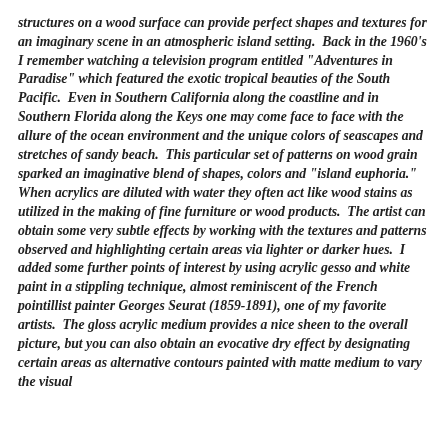structures on a wood surface can provide perfect shapes and textures for an imaginary scene in an atmospheric island setting.  Back in the 1960's I remember watching a television program entitled "Adventures in Paradise" which featured the exotic tropical beauties of the South Pacific.  Even in Southern California along the coastline and in Southern Florida along the Keys one may come face to face with the allure of the ocean environment and the unique colors of seascapes and stretches of sandy beach.  This particular set of patterns on wood grain sparked an imaginative blend of shapes, colors and "island euphoria."  When acrylics are diluted with water they often act like wood stains as utilized in the making of fine furniture or wood products.  The artist can obtain some very subtle effects by working with the textures and patterns observed and highlighting certain areas via lighter or darker hues.  I added some further points of interest by using acrylic gesso and white paint in a stippling technique, almost reminiscent of the French pointillist painter Georges Seurat (1859-1891), one of my favorite artists.  The gloss acrylic medium provides a nice sheen to the overall picture, but you can also obtain an evocative dry effect by designating certain areas as alternative contours painted with matte medium to vary the visual